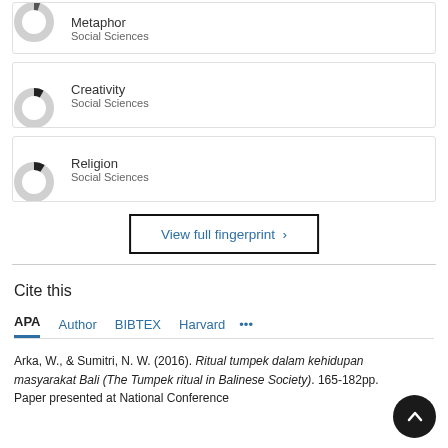[Figure (donut-chart): Small donut chart for Metaphor, Social Sciences]
Metaphor
Social Sciences
[Figure (donut-chart): Small donut chart for Creativity, Social Sciences]
Creativity
Social Sciences
[Figure (donut-chart): Small donut chart for Religion, Social Sciences]
Religion
Social Sciences
View full fingerprint ›
Cite this
APA  Author  BIBTEX  Harvard  •••
Arka, W., & Sumitri, N. W. (2016). Ritual tumpek dalam kehidupan masyarakat Bali (The Tumpek ritual in Balinese Society). 165-182pp. Paper presented at National Conference